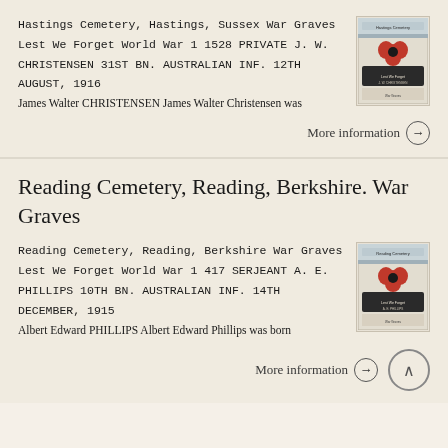Hastings Cemetery, Hastings, Sussex War Graves Lest We Forget World War 1 1528 PRIVATE J. W. CHRISTENSEN 31ST BN. AUSTRALIAN INF. 12TH AUGUST, 1916 James Walter CHRISTENSEN James Walter Christensen was
[Figure (photo): Small book cover thumbnail showing a red poppy on a dark background with text about war graves]
More information →
Reading Cemetery, Reading, Berkshire. War Graves
Reading Cemetery, Reading, Berkshire War Graves Lest We Forget World War 1 417 SERJEANT A. E. PHILLIPS 10TH BN. AUSTRALIAN INF. 14TH DECEMBER, 1915 Albert Edward PHILLIPS Albert Edward Phillips was born
[Figure (photo): Small book cover thumbnail showing a red poppy on a dark background with text about war graves]
More information →